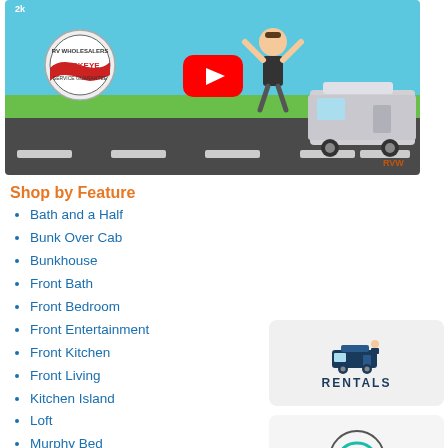[Figure (screenshot): YouTube video thumbnail showing RV Wholesalers Buckeye Service Guarantee branding with a cartoon person jumping next to an RV, on a road background. Red YouTube play button in center.]
Shop by Feature
Bath and a Half
Bunk Over Cab
Bunkhouse
Front Bath
Front Bedroom
Front Entertainment
Front Kitchen
Front Living
Kitchen Island
Loft
Murphy Bed
Outdoor Entertainment
Outdoor Kitchen
[Figure (logo): RV Rentals icon with dark blue RV illustration above the word RENTALS in bold dark blue letters]
[Figure (illustration): Chat bubble icon with teal speech bubble containing ellipsis dots, inside a circle outline]